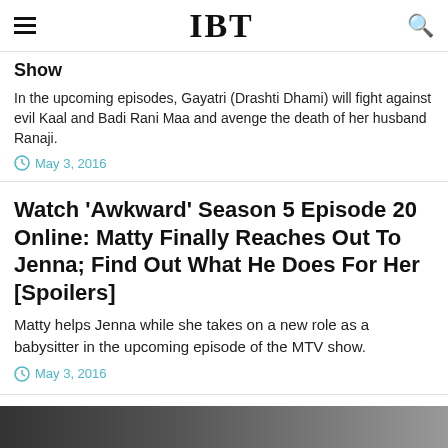IBT
Show
In the upcoming episodes, Gayatri (Drashti Dhami) will fight against evil Kaal and Badi Rani Maa and avenge the death of her husband Ranaji.
May 3, 2016
Watch 'Awkward' Season 5 Episode 20 Online: Matty Finally Reaches Out To Jenna; Find Out What He Does For Her [Spoilers]
Matty helps Jenna while she takes on a new role as a babysitter in the upcoming episode of the MTV show.
May 3, 2016
[Figure (photo): Partial dark photo visible at bottom of page]